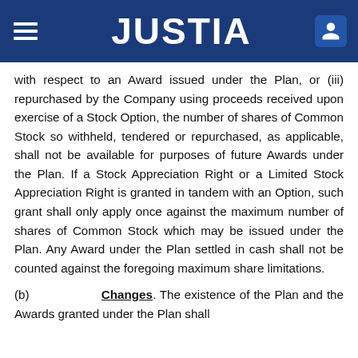JUSTIA
with respect to an Award issued under the Plan, or (iii) repurchased by the Company using proceeds received upon exercise of a Stock Option, the number of shares of Common Stock so withheld, tendered or repurchased, as applicable, shall not be available for purposes of future Awards under the Plan. If a Stock Appreciation Right or a Limited Stock Appreciation Right is granted in tandem with an Option, such grant shall only apply once against the maximum number of shares of Common Stock which may be issued under the Plan. Any Award under the Plan settled in cash shall not be counted against the foregoing maximum share limitations.
(b) Changes. The existence of the Plan and the Awards granted under the Plan shall